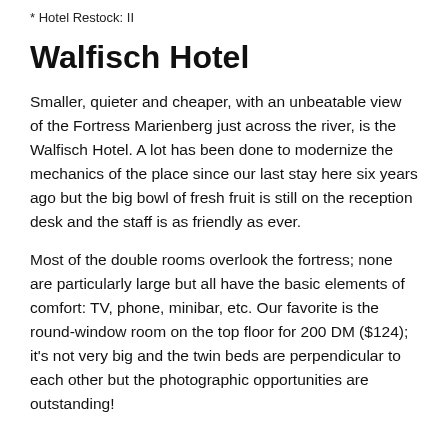* Hotel Restock: II
Walfisch Hotel
Smaller, quieter and cheaper, with an unbeatable view of the Fortress Marienberg just across the river, is the Walfisch Hotel. A lot has been done to modernize the mechanics of the place since our last stay here six years ago but the big bowl of fresh fruit is still on the reception desk and the staff is as friendly as ever.
Most of the double rooms overlook the fortress; none are particularly large but all have the basic elements of comfort: TV, phone, minibar, etc. Our favorite is the round-window room on the top floor for 200 DM ($124); it's not very big and the twin beds are perpendicular to each other but the photographic opportunities are outstanding!